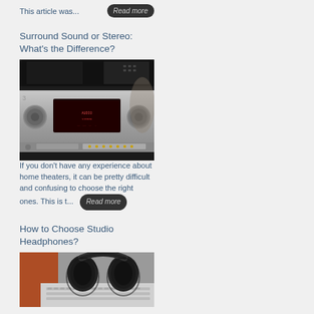This article was...
Surround Sound or Stereo: What's the Difference?
[Figure (photo): Photo of a silver AV receiver / home theater amplifier with large rotary knobs and a display panel, stacked audio equipment in background]
If you don't have any experience about home theaters, it can be pretty difficult and confusing to choose the right ones. This is t...
How to Choose Studio Headphones?
[Figure (photo): Photo of black over-ear headphones resting on a laptop keyboard with an orange book or surface in background]